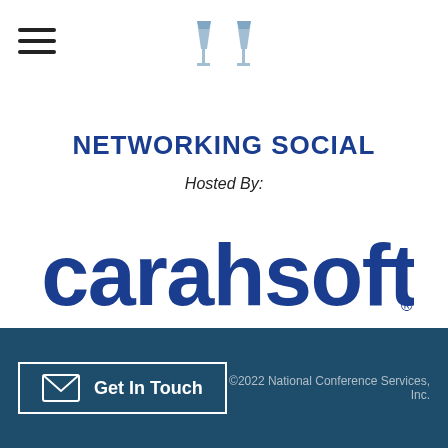[Figure (illustration): Header with hamburger menu icon on the left and two toasting wine glasses icon in the center]
NETWORKING SOCIAL
Hosted By:
[Figure (logo): Carahsoft logo in large blue text with registered trademark symbol]
Get In Touch   ©2022 National Conference Services, Inc.